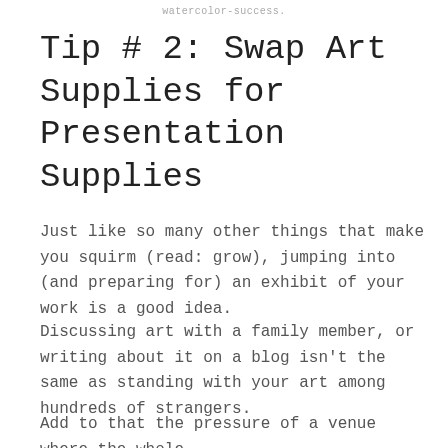watercolor-success.
Tip # 2: Swap Art Supplies for Presentation Supplies
Just like so many other things that make you squirm (read: grow), jumping into (and preparing for) an exhibit of your work is a good idea.
Discussing art with a family member, or writing about it on a blog isn't the same as standing with your art among hundreds of strangers.
Add to that the pressure of a venue where the whole